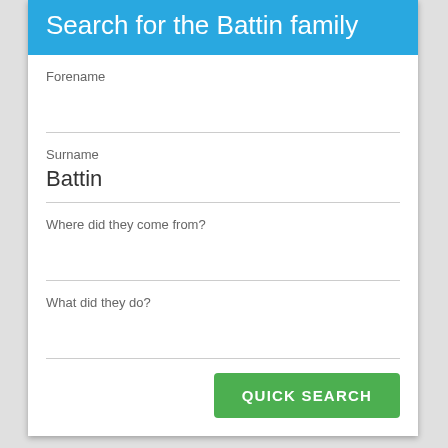Search for the Battin family
Forename
Surname
Battin
Where did they come from?
What did they do?
QUICK SEARCH